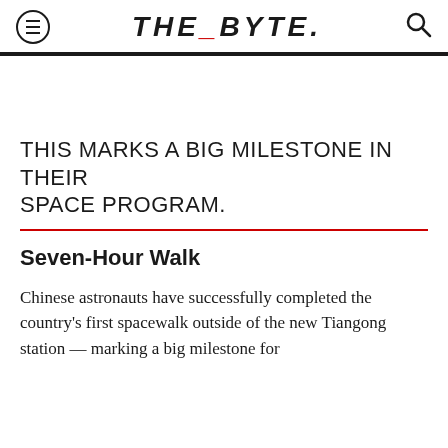THE_BYTE.
THIS MARKS A BIG MILESTONE IN THEIR SPACE PROGRAM.
Seven-Hour Walk
Chinese astronauts have successfully completed the country's first spacewalk outside of the new Tiangong station — marking a big milestone for